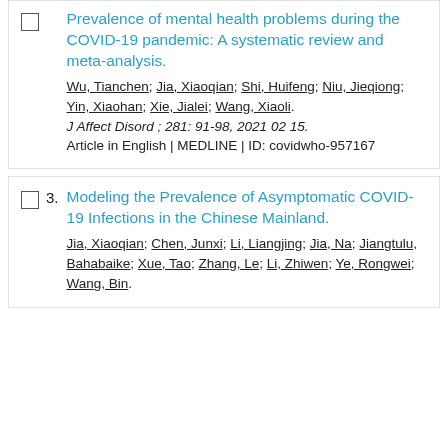Prevalence of mental health problems during the COVID-19 pandemic: A systematic review and meta-analysis. Wu, Tianchen; Jia, Xiaoqian; Shi, Huifeng; Niu, Jieqiong; Yin, Xiaohan; Xie, Jialei; Wang, Xiaoli. J Affect Disord ; 281: 91-98, 2021 02 15. Article in English | MEDLINE | ID: covidwho-957167
Modeling the Prevalence of Asymptomatic COVID-19 Infections in the Chinese Mainland. Jia, Xiaoqian; Chen, Junxi; Li, Liangjing; Jia, Na; Jiangtulu, Bahabaike; Xue, Tao; Zhang, Le; Li, Zhiwen; Ye, Rongwei; Wang, Bin.